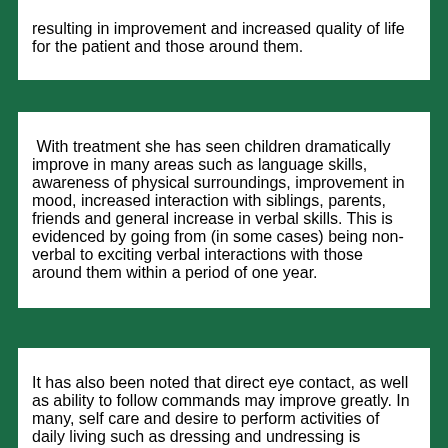resulting in improvement and increased quality of life for the patient and those around them.
With treatment she has seen children dramatically improve in many areas such as language skills, awareness of physical surroundings, improvement in mood, increased interaction with siblings, parents, friends and general increase in verbal skills. This is evidenced by going from (in some cases) being non-verbal to exciting verbal interactions with those around them within a period of one year.
It has also been noted that direct eye contact, as well as ability to follow commands may improve greatly. In many, self care and desire to perform activities of daily living such as dressing and undressing is